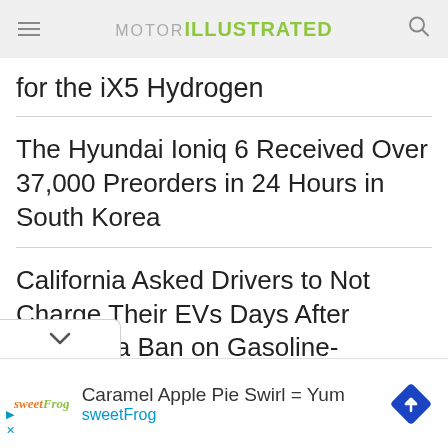MOTOR ILLUSTRATED
for the iX5 Hydrogen
The Hyundai Ioniq 6 Received Over 37,000 Preorders in 24 Hours in South Korea
California Asked Drivers to Not Charge Their EVs Days After Passing a Ban on Gasoline-powered Vehicles
Caramel Apple Pie Swirl = Yum
sweetFrog